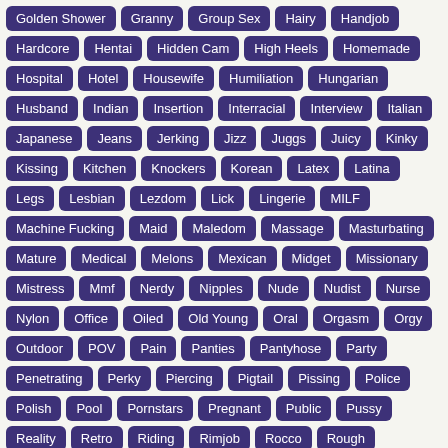Golden Shower
Granny
Group Sex
Hairy
Handjob
Hardcore
Hentai
Hidden Cam
High Heels
Homemade
Hospital
Hotel
Housewife
Humiliation
Hungarian
Husband
Indian
Insertion
Interracial
Interview
Italian
Japanese
Jeans
Jerking
Jizz
Juggs
Juicy
Kinky
Kissing
Kitchen
Knockers
Korean
Latex
Latina
Legs
Lesbian
Lezdom
Lick
Lingerie
MILF
Machine Fucking
Maid
Maledom
Massage
Masturbating
Mature
Medical
Melons
Mexican
Midget
Missionary
Mistress
Mmf
Nerdy
Nipples
Nude
Nudist
Nurse
Nylon
Office
Oiled
Old Young
Oral
Orgasm
Orgy
Outdoor
POV
Pain
Panties
Pantyhose
Party
Penetrating
Perky
Piercing
Pigtail
Pissing
Police
Polish
Pool
Pornstars
Pregnant
Public
Pussy
Reality
Retro
Riding
Rimjob
Rocco
Rough
Russian
Screaming
Secretary
Sex
Sex Tape
Shaved
Shower
Skinny
Small Cock
Small Tits
Smoking
Softcore